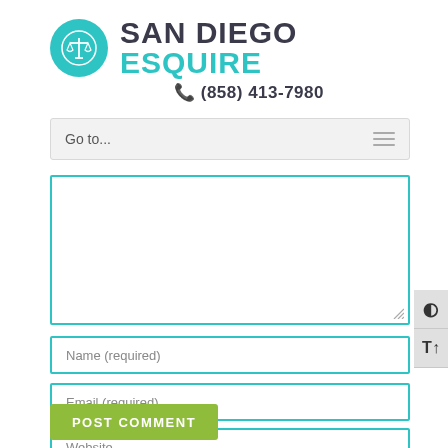[Figure (logo): San Diego Esquire law firm logo with teal scales of justice icon and text 'SAN DIEGO ESQUIRE' with phone number (858) 413-7980]
Go to...
Name (required)
Email (required)
Website
POST COMMENT